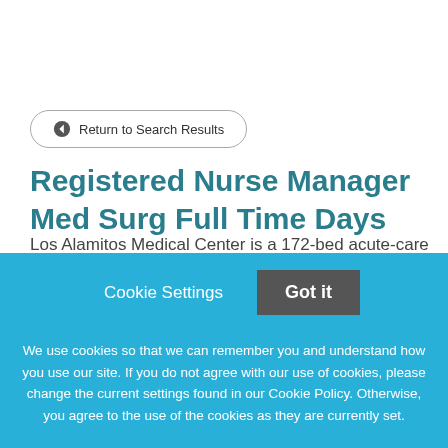← Return to Search Results
Registered Nurse Manager Med Surg Full Time Days
Los Alamitos Medical Center is a 172-bed acute-care
Cookie Settings  Got it
We use cookies so that we can remember you and understand how you use our site. If you do not agree with our use of cookies, please change the current settings found in our Cookie Policy. Otherwise, you agree to the use of the cookies as they are currently set.